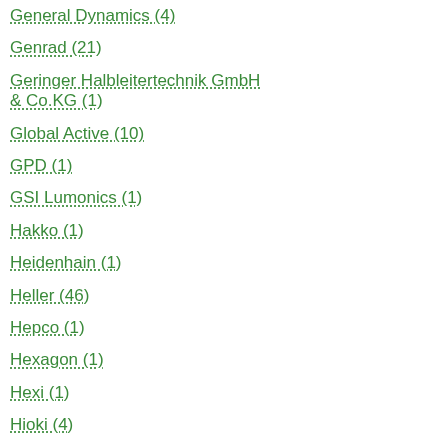General Dynamics (4)
Genrad (21)
Geringer Halbleitertechnik GmbH & Co.KG (1)
Global Active (10)
GPD (1)
GSI Lumonics (1)
Hakko (1)
Heidenhain (1)
Heller (46)
Hepco (1)
Hexagon (1)
Hexi (1)
Hioki (4)
Hitachi (693)
Hover Davis (14)
I-Pulse (962)
Iemme (2)